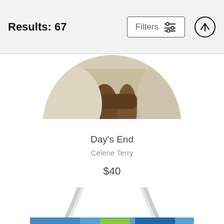Results: 67
Filters
[Figure (photo): Circular cropped product image showing an artwork with muted tan/brown tones, partially visible at top of page]
Day's End
Celene Terry
$40
[Figure (photo): Tote bag with white rope handles shown hanging, with a colorful blue and green painting visible at the bottom edge]